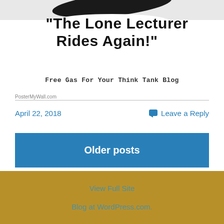[Figure (photo): Top portion of a blog banner image showing a dark curved shape against a light gray/white background, partially cropped]
"The Lone Lecturer Rides Again!"
Free Gas For Your Think Tank Blog
PosterMyWall.com
April 22, 2018
Leave a Reply
Older posts
View Full Site
Blog at WordPress.com.